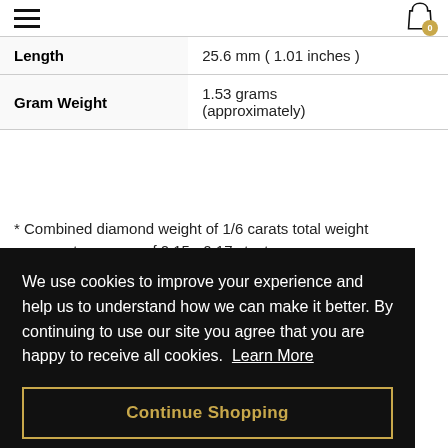Navigation header with hamburger menu and cart icon (badge: 0)
| Property | Value |
| --- | --- |
| Length | 25.6 mm ( 1.01 inches ) |
| Gram Weight | 1.53 grams (approximately) |
* Combined diamond weight of 1/6 carats total weight represents a range of 0.15 - 0.17 cts. t.w.
We use cookies to improve your experience and help us to understand how we can make it better. By continuing to use our site you agree that you are happy to receive all cookies. Learn More
Continue Shopping